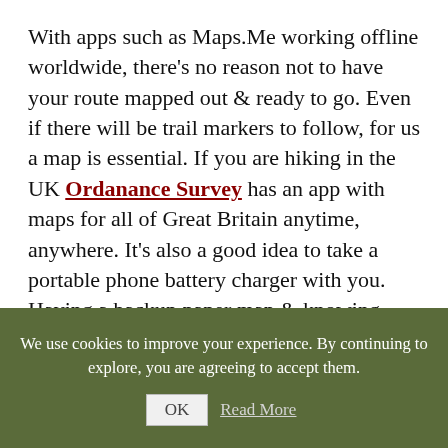With apps such as Maps.Me working offline worldwide, there's no reason not to have your route mapped out & ready to go. Even if there will be trail markers to follow, for us a map is essential. If you are hiking in the UK Ordanance Survey has an app with maps for all of Great Britain anytime, anywhere. It's also a good idea to take a portable phone battery charger with you. Having a backup paper map & knowing how to navigate is also what a lot of people do.
We use cookies to improve your experience. By continuing to explore, you are agreeing to accept them.
OK   Read More